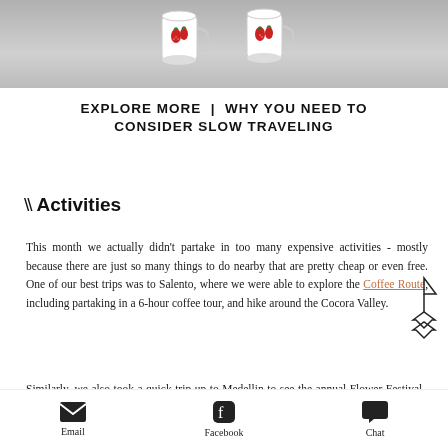[Figure (photo): Photo of two white mugs with floral decoration (strawberries/fruit design) sitting in a metal sink, cropped at the top.]
EXPLORE MORE  |  WHY YOU NEED TO CONSIDER SLOW TRAVELING
\\ Activities
This month we actually didn't partake in too many expensive activities - mostly because there are just so many things to do nearby that are pretty cheap or even free. One of our best trips was to Salento, where we were able to explore the Coffee Route, including partaking in a 6-hour coffee tour, and hike around the Cocora Valley.
Similarly, we also took a quick trip up to Medellin to see the annual Flower Festival. While we were not
Email   Facebook   Chat